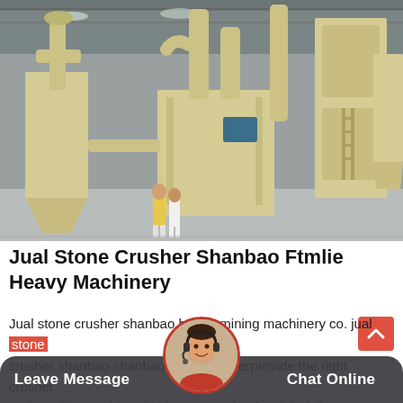[Figure (photo): Industrial grinding/milling machinery inside a large warehouse facility. Cream/beige colored large industrial machines with pipes and cyclone separators. Two workers visible in the background.]
Jual Stone Crusher Shanbao Ftmlie Heavy Machinery
Jual stone crusher shanbao henan mining machinery co. jual stone crusher shanbao shanbao stone crusherprovide the right crusher and crushing and is suitable kinds of rock in full to meet the needs of material results that me your specificationsjaw...